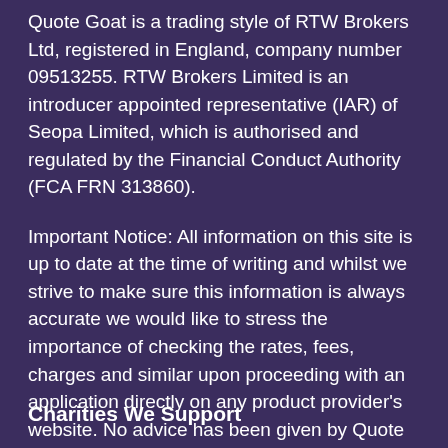Quote Goat is a trading style of RTW Brokers Ltd, registered in England, company number 09513255. RTW Brokers Limited is an introducer appointed representative (IAR) of Seopa Limited, which is authorised and regulated by the Financial Conduct Authority (FCA FRN 313860).
Important Notice: All information on this site is up to date at the time of writing and whilst we strive to make sure this information is always accurate we would like to stress the importance of checking the rates, fees, charges and similar upon proceeding with an application directly on any product provider's website. No advice has been given by Quote Goat. If you are in need of financial advice, we recommend consulting a financial adviser.
Charities We Support